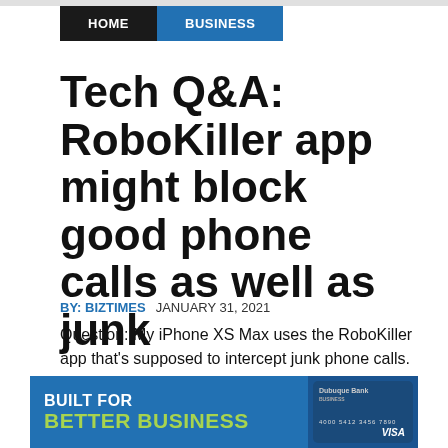HOME  BUSINESS
Tech Q&A: RoboKiller app might block good phone calls as well as junk
BY: BIZTIMES  JANUARY 31, 2021
Question: My iPhone XS Max uses the RoboKiller app that's supposed to intercept junk phone calls. I expected it to block the 15 to 25 junk calls I was getting every day, but to let through calls who were in my phone's contact list.
Unf
[Figure (infographic): Advertisement banner: BUILT FOR BETTER BUSINESS with Dubuque Bank business credit card visual]